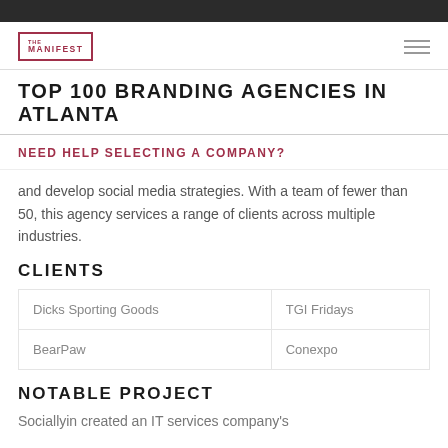[Figure (logo): The Manifest logo: square border with THE MANIFEST text inside]
TOP 100 BRANDING AGENCIES IN ATLANTA
NEED HELP SELECTING A COMPANY?
and develop social media strategies. With a team of fewer than 50, this agency services a range of clients across multiple industries.
CLIENTS
| Dicks Sporting Goods | TGI Fridays |
| BearPaw | Conexpo |
NOTABLE PROJECT
Sociallyin created an IT services company's